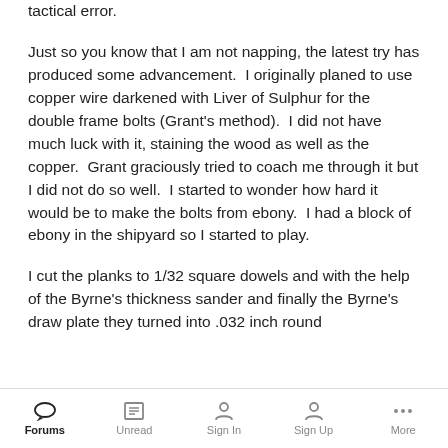tactical error.
Just so you know that I am not napping, the latest try has produced some advancement.  I originally planed to use copper wire darkened with Liver of Sulphur for the double frame bolts (Grant's method).  I did not have much luck with it, staining the wood as well as the copper.  Grant graciously tried to coach me through it but I did not do so well.  I started to wonder how hard it would be to make the bolts from ebony.  I had a block of ebony in the shipyard so I started to play.
I cut the planks to 1/32 square dowels and with the help of the Byrne's thickness sander and finally the Byrne's draw plate they turned into .032 inch round
Forums  Unread  Sign In  Sign Up  More